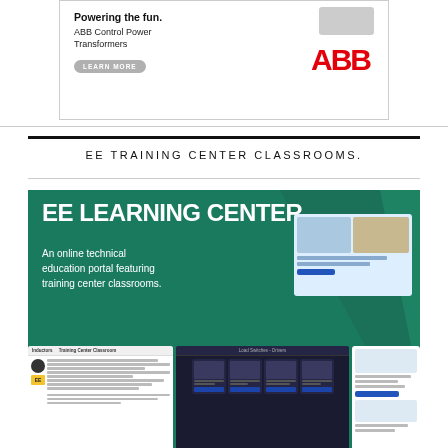[Figure (illustration): ABB advertisement banner: 'Powering the fun. ABB Control Power Transformers' with LEARN MORE button and ABB logo in red]
EE TRAINING CENTER CLASSROOMS.
[Figure (infographic): EE Learning Center promotional banner - green background with text 'EE LEARNING CENTER An online technical education portal featuring training center classrooms.' with screenshots of training content]